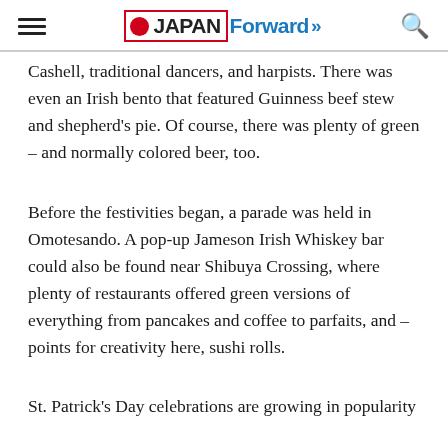JAPAN Forward
Cashell, traditional dancers, and harpists. There was even an Irish bento that featured Guinness beef stew and shepherd's pie. Of course, there was plenty of green – and normally colored beer, too.
Before the festivities began, a parade was held in Omotesando. A pop-up Jameson Irish Whiskey bar could also be found near Shibuya Crossing, where plenty of restaurants offered green versions of everything from pancakes and coffee to parfaits, and – points for creativity here, sushi rolls.
St. Patrick's Day celebrations are growing in popularity